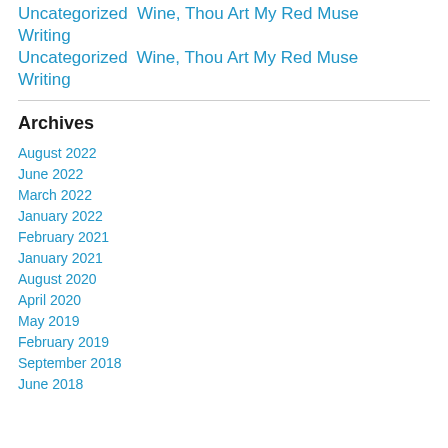Uncategorized  Wine, Thou Art My Red Muse
Writing
Archives
August 2022
June 2022
March 2022
January 2022
February 2021
January 2021
August 2020
April 2020
May 2019
February 2019
September 2018
June 2018